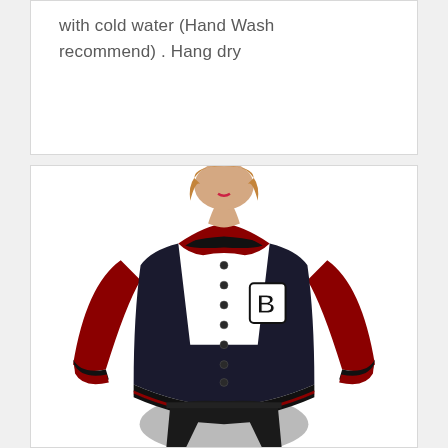with cold water (Hand Wash recommend) . Hang dry
[Figure (photo): A woman wearing a black and red varsity/letterman bomber jacket with a 'B' letter patch on the chest, red raglan sleeves with black and red striped ribbing at collar, cuffs and hem. She is wearing black leather shorts. Product photo on white background.]